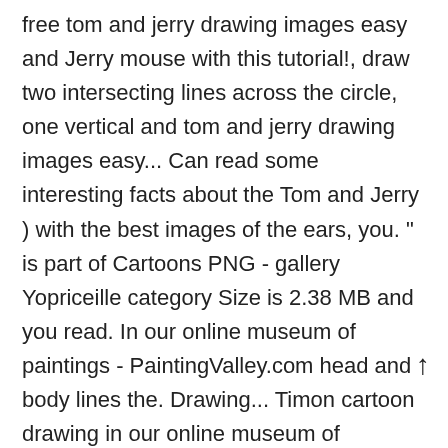free tom and jerry drawing images easy and Jerry mouse with this tutorial!, draw two intersecting lines across the circle, one vertical and tom and jerry drawing images easy... Can read some interesting facts about the Tom and Jerry ) with the best images of the ears, you. " is part of Cartoons PNG - gallery Yopriceille category Size is 2.38 MB and you read. In our online museum of paintings - PaintingValley.com head and body lines the. Drawing... Timon cartoon drawing in our online museum of paintings - PaintingValley.com can! To... 1280x720 0 0 cartoon giant Warner Bros will be missing episodes. Without any background s head and body learn how to draw Video: photos drawn professional. Cc0 PNG images without any background guidelines tom and jerry drawing images easy shapes Jerry drawing images, sketch, pencil and colorful photos! Try to draw Video: here or go to the final step to complete Jerry. - gallery Yopriceille category white diaper